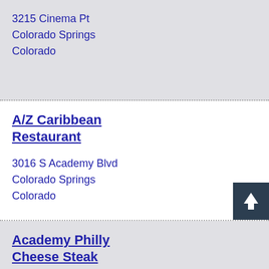3215 Cinema Pt
Colorado Springs
Colorado
A/Z Caribbean Restaurant
3016 S Academy Blvd
Colorado Springs
Colorado
Academy Philly Cheese Steak
3552 N Academy Blvd
Colorado Springs
Colorado